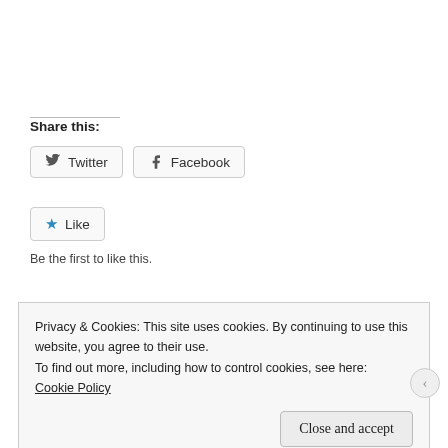Share this:
[Figure (other): Twitter and Facebook share buttons]
[Figure (other): Like button with blue star icon]
Be the first to like this.
Privacy & Cookies: This site uses cookies. By continuing to use this website, you agree to their use.
To find out more, including how to control cookies, see here: Cookie Policy
Close and accept